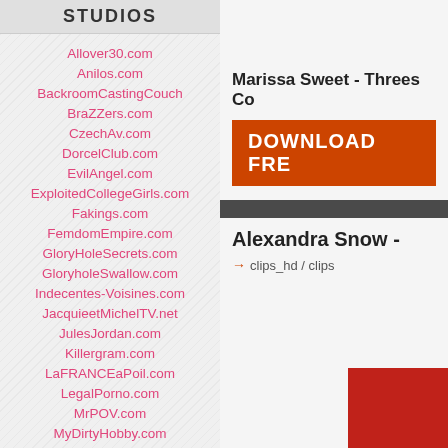STUDIOS
Allover30.com
Anilos.com
BackroomCastingCouch
BraZZers.com
CzechAv.com
DorcelClub.com
EvilAngel.com
ExploitedCollegeGirls.com
Fakings.com
FemdomEmpire.com
GloryHoleSecrets.com
GloryholeSwallow.com
Indecentes-Voisines.com
JacquieetMichelTV.net
JulesJordan.com
Killergram.com
LaFRANCEaPoil.com
LegalPorno.com
MrPOV.com
MyDirtyHobby.com
Marissa Sweet - Threes Co
DOWNLOAD FRE
Alexandra Snow -
clips_hd / clips